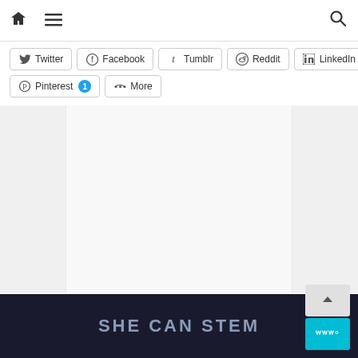Home | Menu | Search
Twitter
Facebook
Tumblr
Reddit
LinkedIn
Pinterest 1
More
[Figure (screenshot): Content area with left sidebar, main content area, and right sidebar, all gray/light background]
SHE CAN STEM